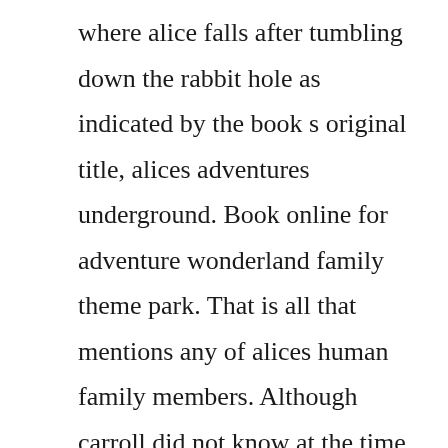where alice falls after tumbling down the rabbit hole as indicated by the book s original title, alices adventures underground. Book online for adventure wonderland family theme park. That is all that mentions any of alices human family members. Although carroll did not know at the time, this excursion proved to be the catalyst for the fairy tale which he initially called alices adventures underground. Alices adventures in wonderland commonly shortened to alice in wonderland is an 1865 novel written by english mathematician. Born